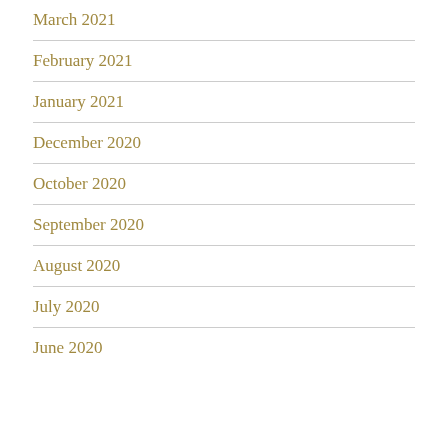March 2021
February 2021
January 2021
December 2020
October 2020
September 2020
August 2020
July 2020
June 2020